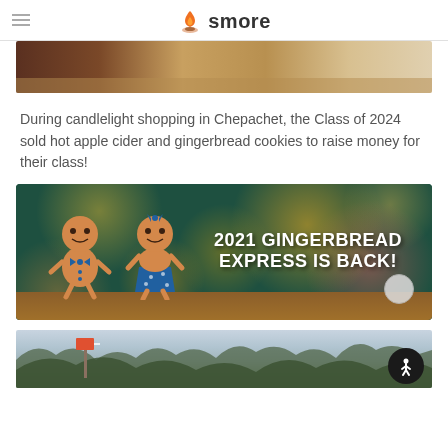smore
[Figure (photo): Partial image showing people's feet and a patterned rug/carpet area]
During candlelight shopping in Chepachet, the Class of 2024 sold hot apple cider and gingerbread cookies to raise money for their class!
[Figure (photo): Promotional banner image showing two gingerbread cookie figures with text '2021 GINGERBREAD EXPRESS IS BACK!' on a dark green bokeh background with golden lights]
[Figure (photo): Partial image showing snowy trees and winter scene]